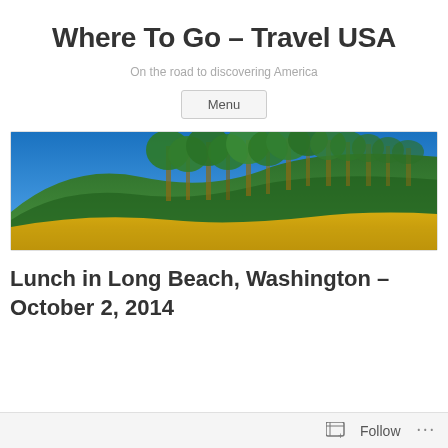Where To Go – Travel USA
On the road to discovering America
Menu
[Figure (photo): Panoramic landscape photo showing a hillside with tall green trees and bright yellow wildflowers under a clear blue sky]
Lunch in Long Beach, Washington – October 2, 2014
Follow ...